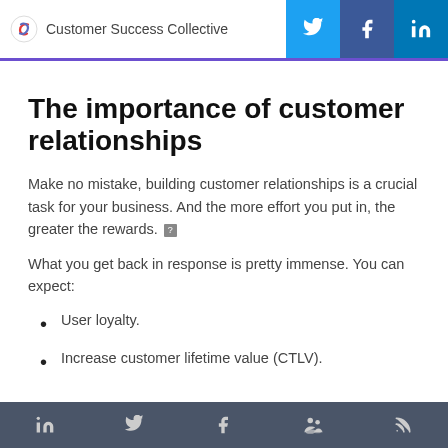Customer Success Collective
The importance of customer relationships
Make no mistake, building customer relationships is a crucial task for your business. And the more effort you put in, the greater the rewards.
What you get back in response is pretty immense. You can expect:
User loyalty.
Increase customer lifetime value (CTLV).
Social media icons: LinkedIn, Twitter, Facebook, Community, RSS